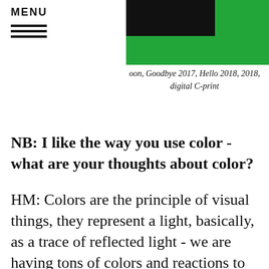MENU
[Figure (photo): Photograph with green and black background visible in the upper right area of the page header]
oon, Goodbye 2017, Hello 2018, 2018, digital C-print
NB: I like the way you use color - what are your thoughts about color?
HM: Colors are the principle of visual things, they represent a light, basically, as a trace of reflected light - we are having tons of colors and reactions to these colors subconsciously. I think it is just important material for humanity to ponder and photographers have sensitive eyes to capture colors through shapes and light. I capture them through digital software like photoshop, making a dramatic effect and bringing dynamics to the